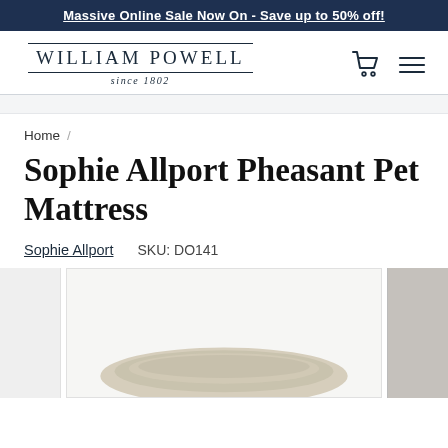Massive Online Sale Now On - Save up to 50% off!
[Figure (logo): William Powell since 1802 logo with cart and menu icons]
Home /
Sophie Allport Pheasant Pet Mattress
Sophie Allport   SKU: DO141
[Figure (photo): Product image of Sophie Allport Pheasant Pet Mattress, partially visible, with thumbnail strip on left and right]